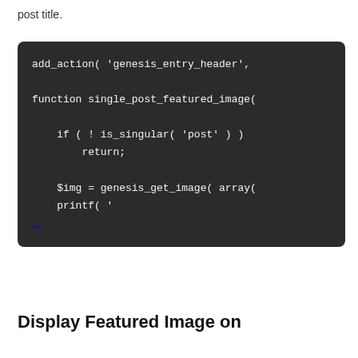post title.
[Figure (screenshot): Dark-background code block showing PHP/WordPress code snippet with add_action, function single_post_featured_image, if is_singular check with return, $img assignment and printf statement, closing brace]
Display Featured Image on